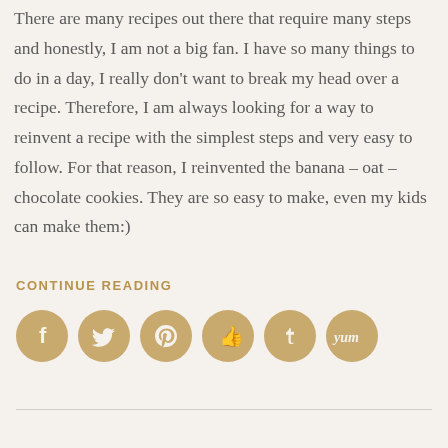There are many recipes out there that require many steps and honestly, I am not a big fan. I have so many things to do in a day, I really don't want to break my head over a recipe. Therefore, I am always looking for a way to reinvent a recipe with the simplest steps and very easy to follow. For that reason, I reinvented the banana – oat – chocolate cookies. They are so easy to make, even my kids can make them:)
CONTINUE READING
[Figure (infographic): Six gold circular social media icon buttons: Facebook (f), Twitter (bird), Pinterest (P), StumbleUpon (thumb), Tumblr (t), Yummly (yum)]